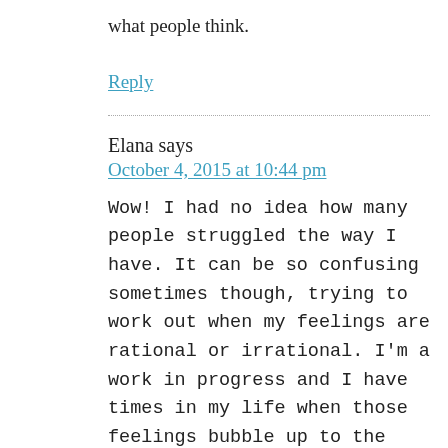what people think.
Reply
Elana says
October 4, 2015 at 10:44 pm
Wow! I had no idea how many people struggled the way I have. It can be so confusing sometimes though, trying to work out when my feelings are rational or irrational. I'm a work in progress and I have times in my life when those feelings bubble up to the surface. On my better days I remind myself that I am not the center of